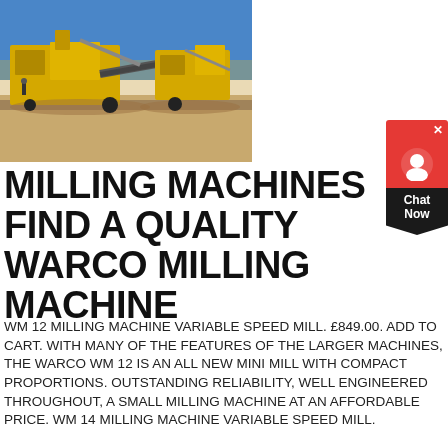[Figure (photo): Outdoor photograph of large yellow industrial milling/crushing machines on a dirt ground with a blue sky background.]
MILLING MACHINES FIND A QUALITY WARCO MILLING MACHINE
WM 12 MILLING MACHINE VARIABLE SPEED MILL. £849.00. ADD TO CART. WITH MANY OF THE FEATURES OF THE LARGER MACHINES, THE WARCO WM 12 IS AN ALL NEW MINI MILL WITH COMPACT PROPORTIONS. OUTSTANDING RELIABILITY, WELL ENGINEERED THROUGHOUT, A SMALL MILLING MACHINE AT AN AFFORDABLE PRICE. WM 14 MILLING MACHINE VARIABLE SPEED MILL.